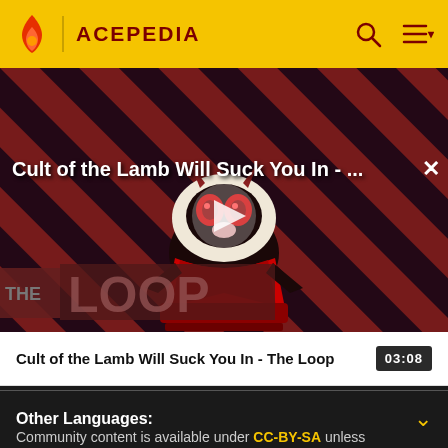ACEPEDIA
[Figure (screenshot): Video thumbnail for 'Cult of the Lamb Will Suck You In - The Loop' showing animated lamb character with red eyes on a diagonal red and black striped background with THE LOOP text overlay and a play button in center]
Cult of the Lamb Will Suck You In - The Loop  03:08
Other Languages:
Community content is available under CC-BY-SA unless